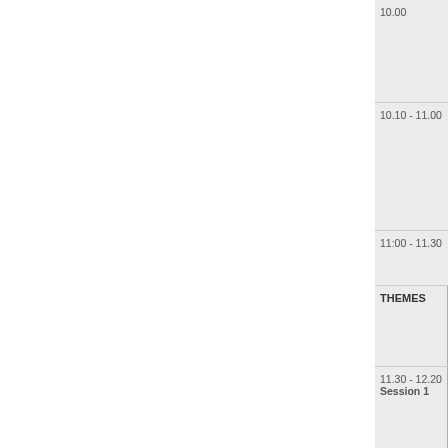| Time | Content |
| --- | --- |
| 10.00 |  |
| 10.10 - 11.00 |  |
| 11:00 - 11.30 |  |
| THEMES |  |
| 11.30 - 12.20
Session 1 |  |
| 12.20 - 13.10 |  |